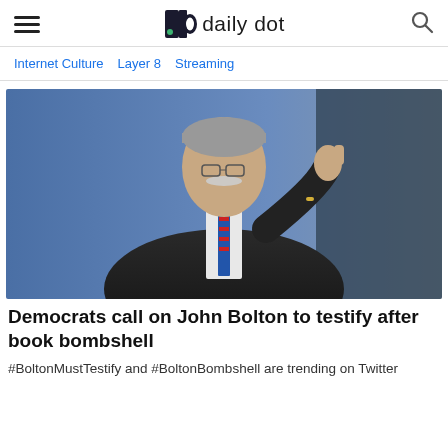daily dot
Internet Culture   Layer 8   Streaming
[Figure (photo): John Bolton in a dark suit giving a thumbs up on stage]
Democrats call on John Bolton to testify after book bombshell
#BoltonMustTestify and #BoltonBombshell are trending on Twitter